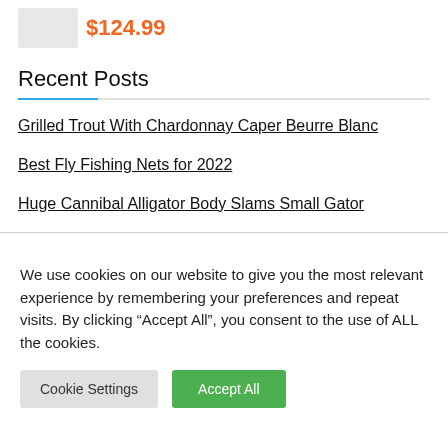[Figure (photo): Product image (partial, white item) with price label]
$124.99
Recent Posts
Grilled Trout With Chardonnay Caper Beurre Blanc
Best Fly Fishing Nets for 2022
Huge Cannibal Alligator Body Slams Small Gator
We use cookies on our website to give you the most relevant experience by remembering your preferences and repeat visits. By clicking “Accept All”, you consent to the use of ALL the cookies.
Cookie Settings   Accept All